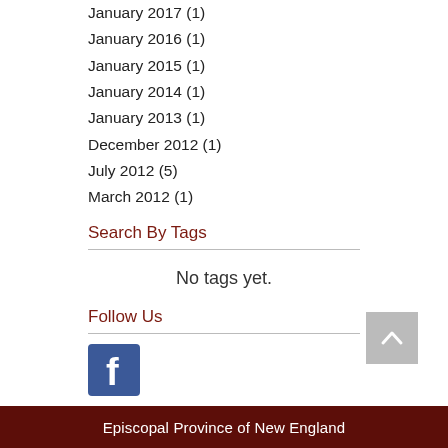January 2017 (1)
January 2016 (1)
January 2015 (1)
January 2014 (1)
January 2013 (1)
December 2012 (1)
July 2012 (5)
March 2012 (1)
Search By Tags
No tags yet.
Follow Us
[Figure (logo): Facebook logo icon - blue square with white 'f' letter]
Episcopal Province of New England